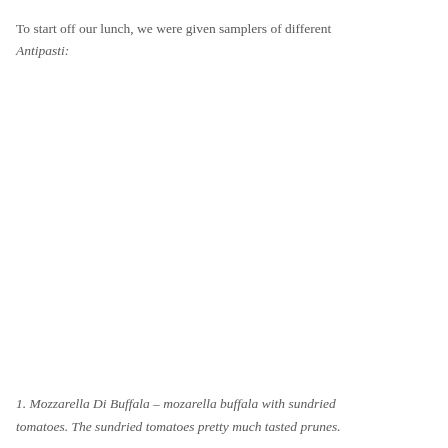To start off our lunch, we were given samplers of different Antipasti:
1. Mozzarella Di Buffala – mozarella buffala with sundried tomatoes. The sundried tomatoes pretty much tasted prunes.